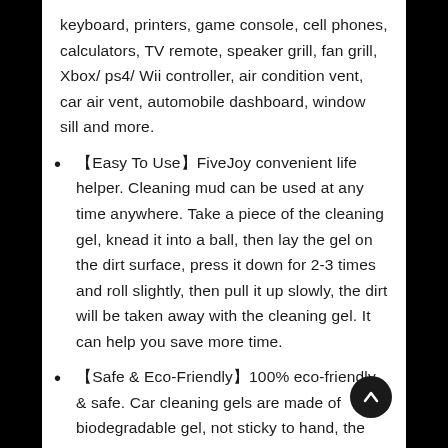keyboard, printers, game console, cell phones, calculators, TV remote, speaker grill, fan grill, Xbox/ ps4/ Wii controller, air condition vent, car air vent, automobile dashboard, window sill and more.
【Easy To Use】FiveJoy convenient life helper. Cleaning mud can be used at any time anywhere. Take a piece of the cleaning gel, knead it into a ball, then lay the gel on the dirt surface, press it down for 2-3 times and roll slightly, then pull it up slowly, the dirt will be taken away with the cleaning gel. It can help you save more time.
【Safe & Eco-Friendly】100% eco-friendly & safe. Car cleaning gels are made of biodegradable gel, not sticky to hand, the light